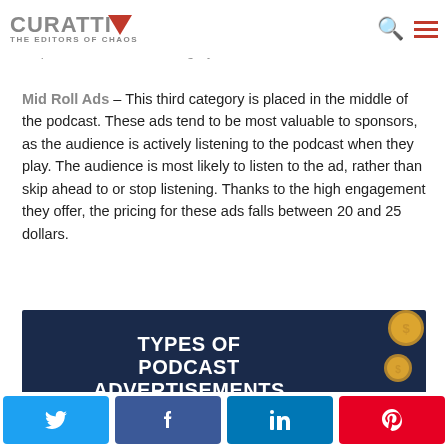to 30 seconds, and pricing is the same as pre-rolls.
CURATTI — THE EDITORS OF CHAOS
Mid Roll Ads – This third category is placed in the middle of the podcast. These ads tend to be most valuable to sponsors, as the audience is actively listening to the podcast when they play. The audience is most likely to listen to the ad, rather than skip ahead to or stop listening. Thanks to the high engagement they offer, the pricing for these ads falls between 20 and 25 dollars.
[Figure (infographic): Dark navy infographic banner with bold white text reading 'TYPES OF PODCAST ADVERTISEMENTS' and gold coins decoration on the right side.]
Twitter share | Facebook share | LinkedIn share | Pinterest share